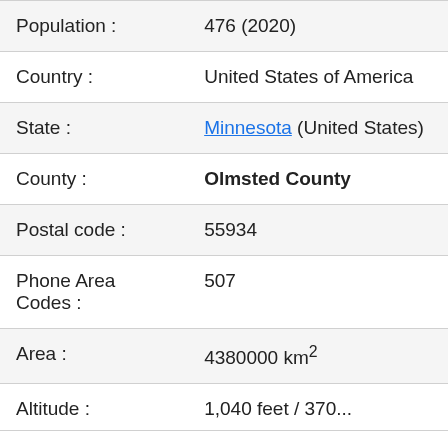| Field | Value |
| --- | --- |
| Population : | 476 (2020) |
| Country : | United States of America |
| State : | Minnesota (United States) |
| County : | Olmsted County |
| Postal code : | 55934 |
| Phone Area Codes : | 507 |
| Area : | 4380000 km² |
| Altitude : | 1,040 feet / 370... |